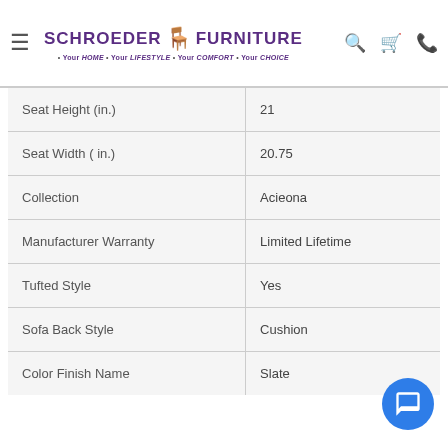Schroeder Furniture — Your HOME · Your LIFESTYLE · Your COMFORT · Your CHOICE
| Attribute | Value |
| --- | --- |
| Seat Height (in.) | 21 |
| Seat Width ( in.) | 20.75 |
| Collection | Acieona |
| Manufacturer Warranty | Limited Lifetime |
| Tufted Style | Yes |
| Sofa Back Style | Cushion |
| Color Finish Name | Slate |